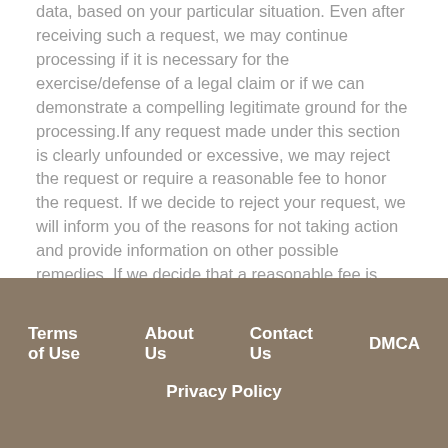data, based on your particular situation. Even after receiving such a request, we may continue processing if it is necessary for the exercise/defense of a legal claim or if we can demonstrate a compelling legitimate ground for the processing.If any request made under this section is clearly unfounded or excessive, we may reject the request or require a reasonable fee to honor the request. If we decide to reject your request, we will inform you of the reasons for not taking action and provide information on other possible remedies. If we decide that a reasonable fee is necessary, we will promptly inform you and will comply with the request upon receipt of this fee.
Terms of Use   About Us   Contact Us   DMCA   Privacy Policy